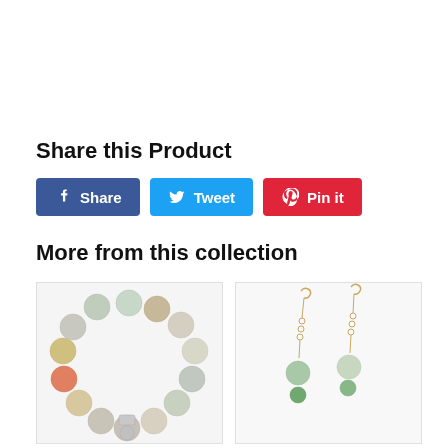Share this Product
[Figure (screenshot): Social share buttons: Facebook Share (blue), Twitter Tweet (light blue), Pinterest Pin it (red)]
More from this collection
[Figure (photo): Beaded bracelet with multicolor amazonite stones and silver charm]
[Figure (photo): Gold drop earrings with green stone pendant on chain]